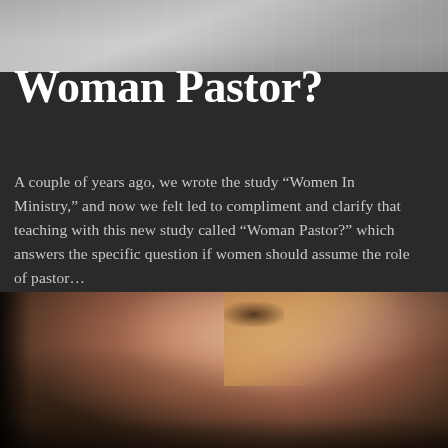[Figure (photo): Grayscale photo at top of page, partially visible]
Woman Pastor?
A couple of years ago, we wrote the study “Women In Ministry,” and now we felt led to compliment and clarify that teaching with this new study called “Woman Pastor?” which answers the specific question if women should assume the role of pastor…
[Figure (photo): Close-up photo of a woman's face with auburn/reddish-brown hair, looking contemplatively, dark background]